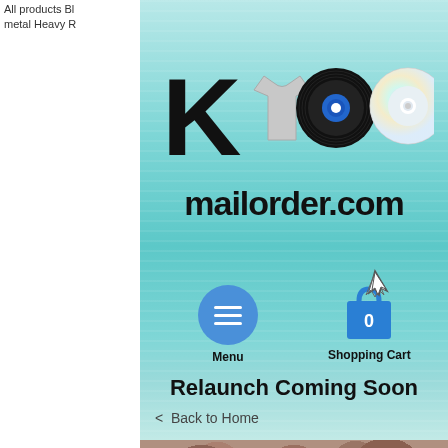All products Bl
metal Heavy R
[Figure (logo): K100 mailorder.com logo with K letter, t-shirt, vinyl record, and CD icons, followed by 'mailorder.com' text]
[Figure (infographic): Menu button (blue circle with hamburger icon) labeled 'Menu' and Shopping Cart icon labeled 'Shopping Cart 0' with cursor arrow]
Relaunch Coming Soon
< Back to Home
[Figure (photo): Close-up photo of rocky/gravelly terrain or crowd from above]